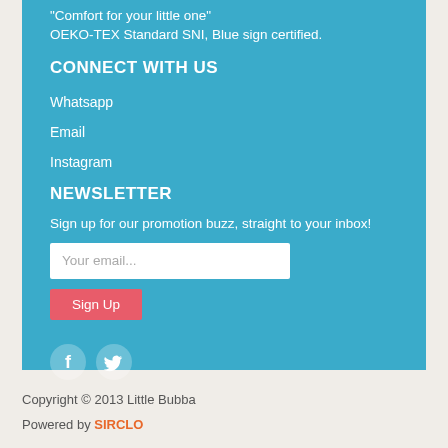"Comfort for your little one"
OEKO-TEX Standard SNI, Blue sign certified.
CONNECT WITH US
Whatsapp
Email
Instagram
NEWSLETTER
Sign up for our promotion buzz, straight to your inbox!
[Figure (other): Email input field with placeholder 'Your email...' and a Sign Up button below it]
[Figure (other): Facebook and Twitter social media icons (white icons on teal circular backgrounds)]
Copyright © 2013 Little Bubba
Powered by SIRCLO